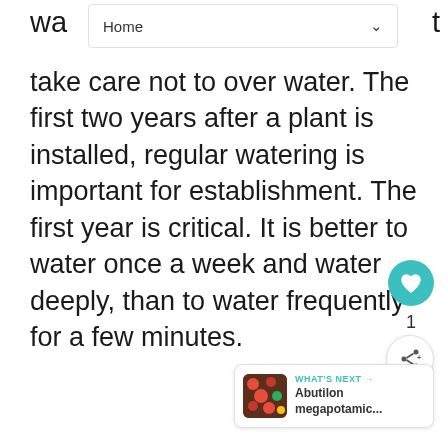Home
wa... t take care not to over water. The first two years after a plant is installed, regular watering is important for establishment. The first year is critical. It is better to water once a week and water deeply, than to water frequently for a few minutes.
[Figure (other): Teal circular like/heart button with heart icon, count of 1 below, and share button beneath]
[Figure (other): WHAT'S NEXT card showing Abutilon megapotamic... with a flower image thumbnail]